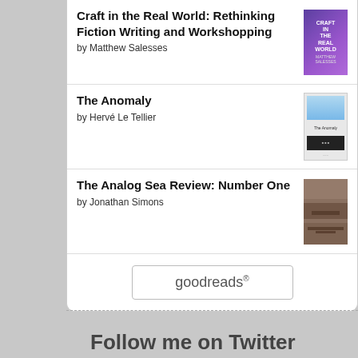Craft in the Real World: Rethinking Fiction Writing and Workshopping by Matthew Salesses
The Anomaly by Hervé Le Tellier
The Analog Sea Review: Number One by Jonathan Simons
[Figure (logo): Goodreads logo button with rounded rectangle border]
Follow me on Twitter